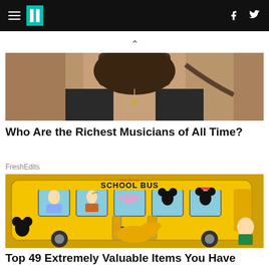HuffPost header navigation
[Figure (photo): Partial view of a woman from behind, wearing a dark outfit, with light brownish background — article thumbnail image]
Who Are the Richest Musicians of All Time?
FreshEdits
[Figure (photo): A vintage Walt Disney School Bus lunch box with Disney characters including Mickey Mouse, Minnie Mouse, Pluto, Pinocchio, Cinderella, Dumbo and others in the windows, rendered in colorful illustration style on a yellow bus]
Top 49 Extremely Valuable Items You Have